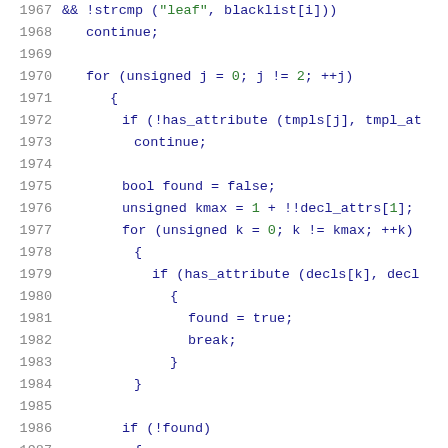Source code listing lines 1967-1988, C/C++ code with syntax highlighting